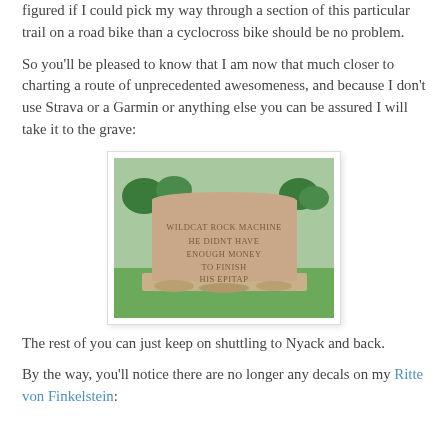figured if I could pick my way through a section of this particular trail on a road bike than a cyclocross bike should be no problem.
So you'll be pleased to know that I am now that much closer to charting a route of unprecedented awesomeness, and because I don't use Strava or a Garmin or anything else you can be assured I will take it to the grave:
[Figure (photo): A gravestone with the humorous epitaph text: WILDCAT ROCK MACHINE / HE DIDNT HAVE / ENOUGH MONEY / TO FINISH / HIS EPITAP]
The rest of you can just keep on shuttling to Nyack and back.
By the way, you'll notice there are no longer any decals on my Ritte von Finkelstein: